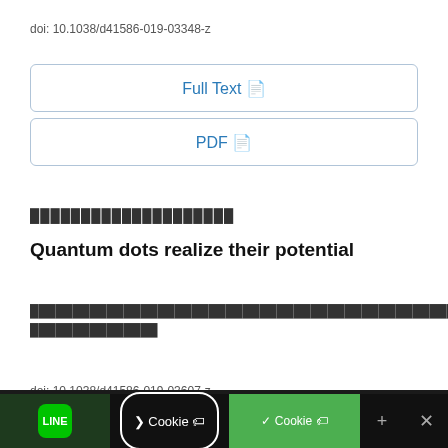doi: 10.1038/d41586-019-03348-z
Full Text
PDF
████████████████████
Quantum dots realize their potential
████████████████████████████████████████████████████████████████████████████████████████████
doi: 10.1038/d41586-019-03607-z
███████ Cookie ████████████████████████████████████████████████████████████████████████████████████████████████████████████████████████████████████████████